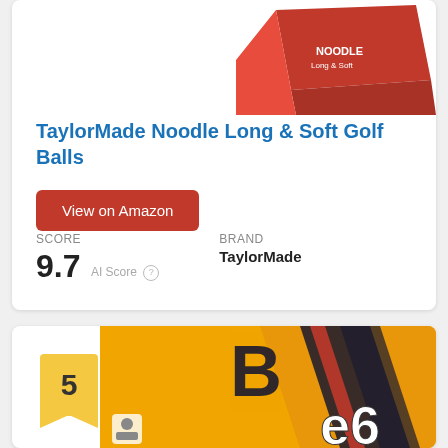[Figure (photo): TaylorMade Noodle golf ball box, partially visible at top of card]
TaylorMade Noodle Long & Soft Golf Balls
View on Amazon
SCORE
9.7 AI Score
Brand
TaylorMade
[Figure (photo): Bridgestone e6 golf ball box in orange/gold with Bridgestone logo and e6 branding, partially visible]
5